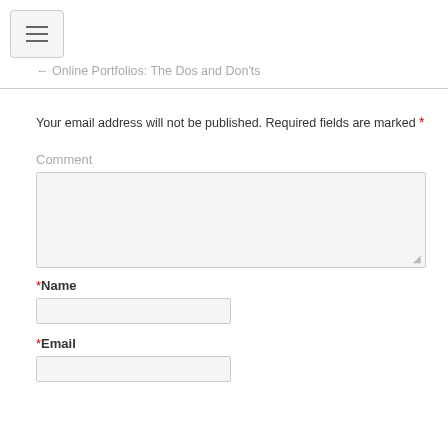[Figure (other): Hamburger menu button icon with three horizontal lines]
← Online Portfolios: The Dos and Don'ts
Your email address will not be published. Required fields are marked *
Comment
*Name
*Email